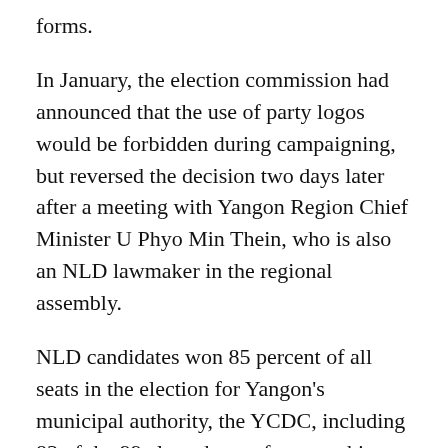forms.
In January, the election commission had announced that the use of party logos would be forbidden during campaigning, but reversed the decision two days later after a meeting with Yangon Region Chief Minister U Phyo Min Thein, who is also an NLD lawmaker in the regional assembly.
NLD candidates won 85 percent of all seats in the election for Yangon's municipal authority, the YCDC, including 83 of the 99 elected seats for township municipal committees and all six of the elected seats on the 11-member top-level executive committee.